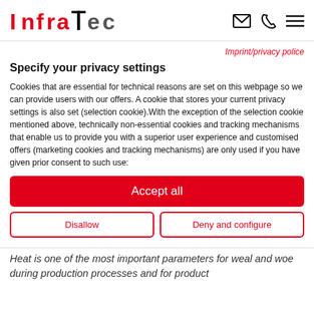InfraTec [logo with icons]
Imprint/privacy police
Specify your privacy settings
Cookies that are essential for technical reasons are set on this webpage so we can provide users with our offers. A cookie that stores your current privacy settings is also set (selection cookie).With the exception of the selection cookie mentioned above, technically non-essential cookies and tracking mechanisms that enable us to provide you with a superior user experience and customised offers (marketing cookies and tracking mechanisms) are only used if you have given prior consent to such use:
Accept all
Disallow
Deny and configure
Heat is one of the most important parameters for weal and woe during production processes and for product